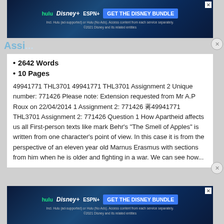[Figure (screenshot): Hulu Disney+ ESPN+ GET THE DISNEY BUNDLE advertisement banner at top of page]
2642 Words
10 Pages
49941771 THL3701 49941771 THL3701 Assignment 2 Unique number: 771426 Please note: Extension requested from Mr A.P Roux on 22/04/2014 1 Assignment 2: 771426 蒜49941771 THL3701 Assignment 2: 771426 Question 1 How Apartheid affects us all First-person texts like mark Behr’s “The Smell of Apples” is written from one character’s point of view. In this case it is from the perspective of an eleven year old Marnus Erasmus with sections from him when he is older and fighting in a war. We can see how...
[Figure (screenshot): Hulu Disney+ ESPN+ GET THE DISNEY BUNDLE advertisement banner at bottom of page]